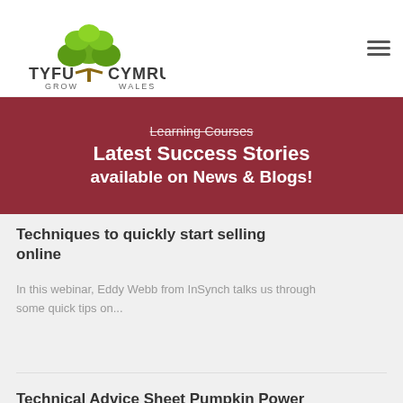[Figure (logo): Tyfu Cymru / Grow Wales logo — green tree with leaves above text]
Learning Courses
Latest Success Stories available on News & Blogs!
Techniques to quickly start selling online
In this webinar, Eddy Webb from InSynch talks us through some quick tips on...
Technical Advice Sheet Pumpkin Power